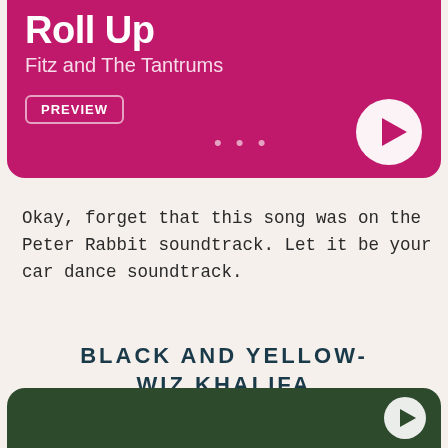[Figure (screenshot): Magenta/pink music player card showing song 'Roll Up' by Fitz and The Tantrums with a PREVIEW button, three dots menu, and a circular play button]
Okay, forget that this song was on the Peter Rabbit soundtrack. Let it be your car dance soundtrack.
BLACK AND YELLOW- WIZ KHALIFA
[Figure (screenshot): Dark green music player card (partially visible at bottom) for Black and Yellow by Wiz Khalifa]